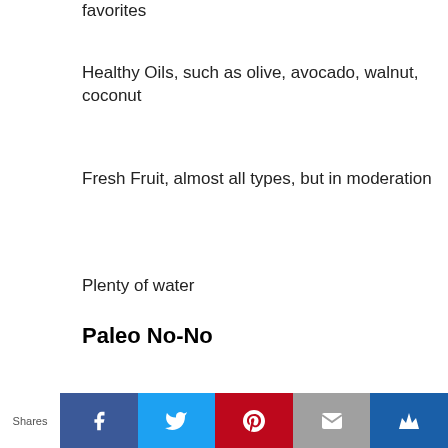favorites
Healthy Oils, such as olive, avocado, walnut, coconut
Fresh Fruit, almost all types, but in moderation
Plenty of water
Paleo No-No
Refined, processed sugar
Shares